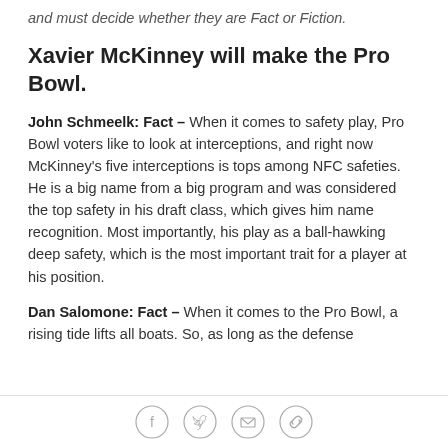and must decide whether they are Fact or Fiction.
Xavier McKinney will make the Pro Bowl.
John Schmeelk: Fact - When it comes to safety play, Pro Bowl voters like to look at interceptions, and right now McKinney's five interceptions is tops among NFC safeties. He is a big name from a big program and was considered the top safety in his draft class, which gives him name recognition. Most importantly, his play as a ball-hawking deep safety, which is the most important trait for a player at his position.
Dan Salomone: Fact – When it comes to the Pro Bowl, a rising tide lifts all boats. So, as long as the defense
[Figure (other): Social media sharing icons: Facebook, Twitter, Email, Link]